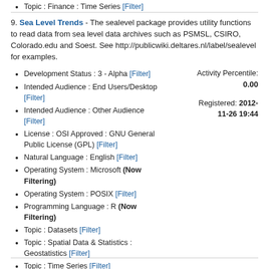Topic : Finance : Time Series [Filter]
9. Sea Level Trends - The sealevel package provides utility functions to read data from sea level data archives such as PSMSL, CSIRO, Colorado.edu and Soest. See http://publicwiki.deltares.nl/label/sealevel for examples.
Development Status : 3 - Alpha [Filter]
Intended Audience : End Users/Desktop [Filter]
Intended Audience : Other Audience [Filter]
License : OSI Approved : GNU General Public License (GPL) [Filter]
Natural Language : English [Filter]
Operating System : Microsoft (Now Filtering)
Operating System : POSIX [Filter]
Programming Language : R (Now Filtering)
Topic : Datasets [Filter]
Topic : Spatial Data & Statistics : Geostatistics [Filter]
Topic : Time Series [Filter]
Activity Percentile: 0.00
Registered: 2012-11-26 19:44